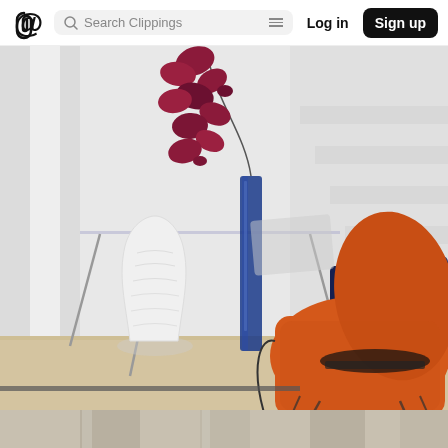Clippings — Search Clippings | Log in | Sign up
[Figure (photo): Interior design photo showing a modern living room with a glass desk, white sculptural vase, tall blue glass vase with red orchid flower stem, an orange upholstered wire chair in the foreground, and a dark navy blue sofa near white stairs in the background. Bright white airy space with light wood floors.]
[Figure (photo): Partial view of another interior image at the bottom of the page, cropped.]